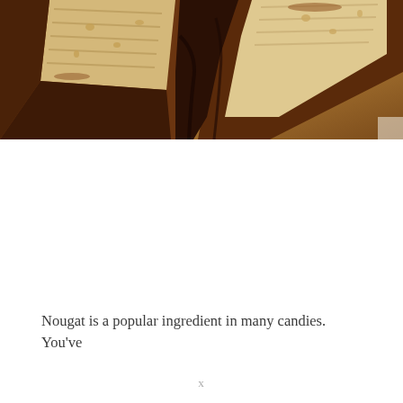[Figure (photo): Close-up photograph of nougat candy pieces broken apart, showing the interior wafer/nougat texture in beige/cream color and dark chocolate coating exterior. Multiple pieces shown at angles revealing the cross-section layers.]
Nougat is a popular ingredient in many candies. You've